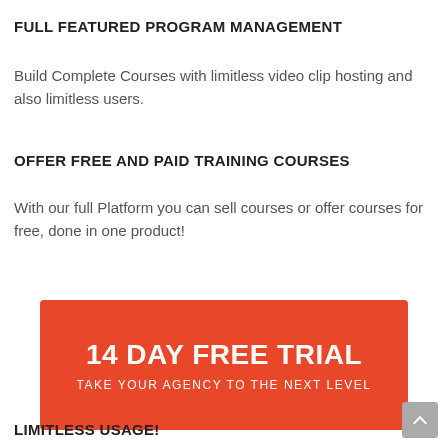FULL FEATURED PROGRAM MANAGEMENT
Build Complete Courses with limitless video clip hosting and also limitless users.
OFFER FREE AND PAID TRAINING COURSES
With our full Platform you can sell courses or offer courses for free, done in one product!
[Figure (infographic): Red call-to-action button reading '14 DAY FREE TRIAL' with subtitle 'TAKE YOUR AGENCY TO THE NEXT LEVEL']